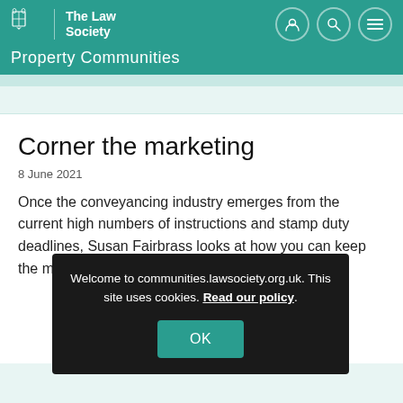The Law Society — Property Communities
Corner the marketing
8 June 2021
Once the conveyancing industry emerges from the current high numbers of instructions and stamp duty deadlines, Susan Fairbrass looks at how you can keep the momentum up with effective marketing
Welcome to communities.lawsociety.org.uk. This site uses cookies. Read our policy.
OK